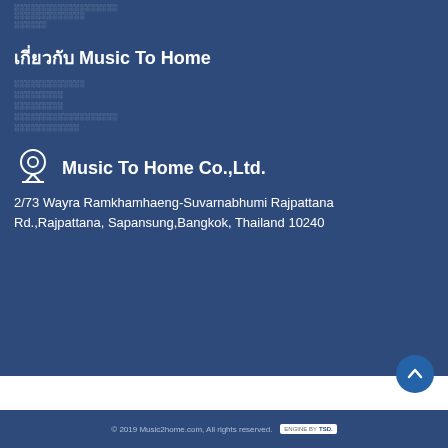░░░░░░░░░░░░░░░░
░░░░░░░░░░░░
░░░░░░
เกี่ยวกับ Music To Home
░░░░░░░░░░░░
░░░░░░░░
░░░░░░░░
░░░░░░░░░░░░░░░░
░░░░░░░░░░
Music To Home Co.,Ltd.
2/73 Wayra Ramkhamhaeng-Suvarnabhumi Rajpattana Rd.,Rajpattana, Sapansung,Bangkok, Thailand 10240
© 2019 Music2home.com, All rights reserved. ENGINE BY TSD.